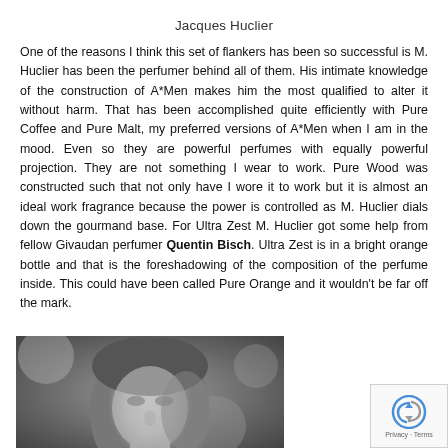Jacques Huclier
One of the reasons I think this set of flankers has been so successful is M. Huclier has been the perfumer behind all of them. His intimate knowledge of the construction of A*Men makes him the most qualified to alter it without harm. That has been accomplished quite efficiently with Pure Coffee and Pure Malt, my preferred versions of A*Men when I am in the mood. Even so they are powerful perfumes with equally powerful projection. They are not something I wear to work. Pure Wood was constructed such that not only have I wore it to work but it is almost an ideal work fragrance because the power is controlled as M. Huclier dials down the gourmand base. For Ultra Zest M. Huclier got some help from fellow Givaudan perfumer Quentin Bisch. Ultra Zest is in a bright orange bottle and that is the foreshadowing of the composition of the perfume inside. This could have been called Pure Orange and it wouldn't be far off the mark.
[Figure (photo): Black and white close-up photo of a man's face, partially visible, with blurred background]